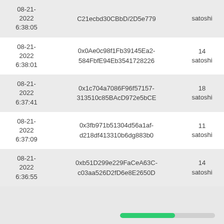| Date | Hash | Amount |
| --- | --- | --- |
| 08-21-2022 6:38:05 | C21ecbd30CBbD/2D5e779 | satoshi |
| 08-21-2022 6:38:01 | 0x0Ae0c98f1Fb39145Ea2-584FbfE94Eb3541728226 | 14 satoshi |
| 08-21-2022 6:37:41 | 0x1c704a7086F96f57157-313510c85BAcD972e5bCE | 18 satoshi |
| 08-21-2022 6:37:09 | 0x3fb971b51304d56a1af-d218df413310b6dg883b0 | 11 satoshi |
| 08-21-2022 6:36:55 | 0xb51D299e229FaCeA63C-c03aa526D2fD6e8E2650D | 14 satoshi |